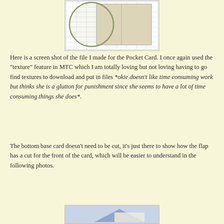[Figure (screenshot): Screen shot of a pocket card cutting file in MTC software showing a grid with a circular shape overlapping a rectangular shape, rendered with a texture effect on beige/tan background]
Here is a screen shot of the file I made for the Pocket Card. I once again used the "texture" feature in MTC which I am totally loving but not loving having to go find textures to download and put in files *okie doesn't like time consuming work but thinks she is a glutton for punishment since she seems to have a lot of time consuming things she does*.
The bottom base card doesn't need to be cut, it's just there to show how the flap has a cut for the front of the card, which will be easier to understand in the following photos.
[Figure (photo): Bottom partial photo showing what appears to be a crafting project photo, partially visible at the bottom of the page]